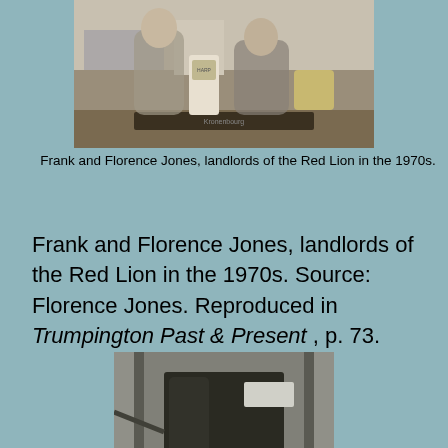[Figure (photo): Black and white photograph of Frank and Florence Jones standing behind a bar counter, with a Harp beer tap visible, in the Red Lion pub, 1970s.]
Frank and Florence Jones, landlords of the Red Lion in the 1970s.
Frank and Florence Jones, landlords of the Red Lion in the 1970s. Source: Florence Jones. Reproduced in Trumpington Past & Present , p. 73.
[Figure (photo): Partial black and white photograph showing what appears to be a doorway or entrance, partially cropped at the bottom of the page.]